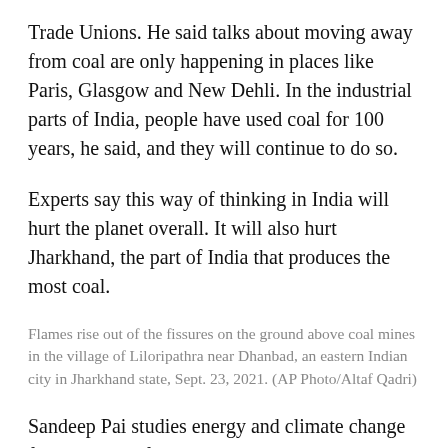Trade Unions. He said talks about moving away from coal are only happening in places like Paris, Glasgow and New Dehli. In the industrial parts of India, people have used coal for 100 years, he said, and they will continue to do so.
Experts say this way of thinking in India will hurt the planet overall. It will also hurt Jharkhand, the part of India that produces the most coal.
Flames rise out of the fissures on the ground above coal mines in the village of Liloripathra near Dhanbad, an eastern Indian city in Jharkhand state, Sept. 23, 2021. (AP Photo/Altaf Qadri)
Sandeep Pai studies energy and climate change for the Center for Strategic and International Studies in Washington, D.C. He sees the problem. Millions of